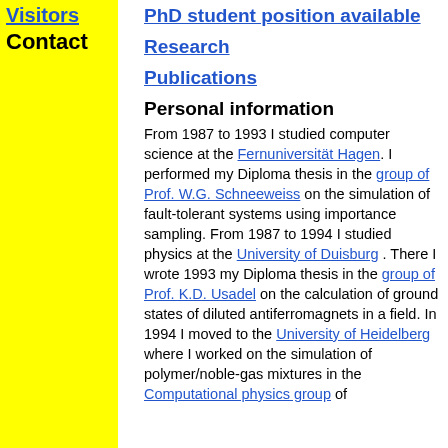Visitors
Contact
PhD student position available
Research
Publications
Personal information
From 1987 to 1993 I studied computer science at the Fernuniversität Hagen. I performed my Diploma thesis in the group of Prof. W.G. Schneeweiss on the simulation of fault-tolerant systems using importance sampling. From 1987 to 1994 I studied physics at the University of Duisburg . There I wrote 1993 my Diploma thesis in the group of Prof. K.D. Usadel on the calculation of ground states of diluted antiferromagnets in a field. In 1994 I moved to the University of Heidelberg where I worked on the simulation of polymer/noble-gas mixtures in the Computational physics group of